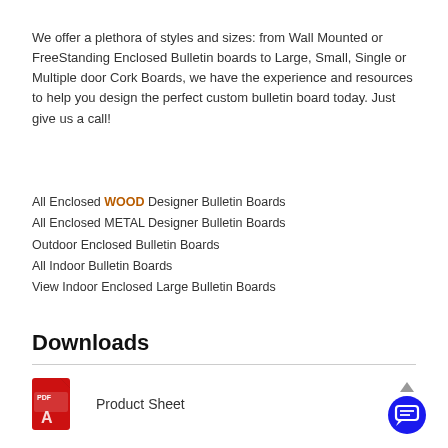We offer a plethora of styles and sizes: from Wall Mounted or FreeStanding Enclosed Bulletin boards to Large, Small, Single or Multiple door Cork Boards, we have the experience and resources to help you design the perfect custom bulletin board today. Just give us a call!
All Enclosed WOOD Designer Bulletin Boards
All Enclosed METAL Designer Bulletin Boards
Outdoor Enclosed Bulletin Boards
All Indoor Bulletin Boards
View Indoor Enclosed Large Bulletin Boards
Downloads
Product Sheet